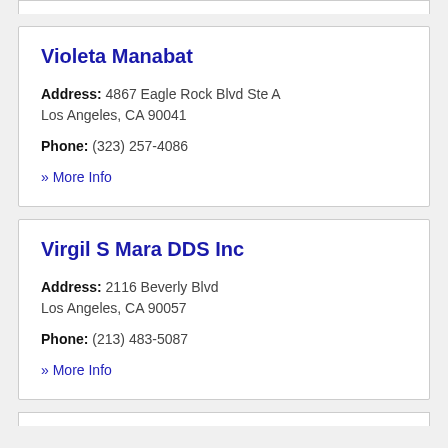Violeta Manabat
Address: 4867 Eagle Rock Blvd Ste A Los Angeles, CA 90041
Phone: (323) 257-4086
» More Info
Virgil S Mara DDS Inc
Address: 2116 Beverly Blvd Los Angeles, CA 90057
Phone: (213) 483-5087
» More Info